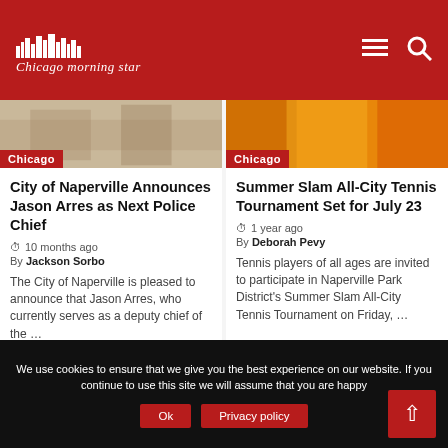Chicago Morning Star
[Figure (screenshot): Sepia-toned photo with Chicago category badge]
City of Naperville Announces Jason Arres as Next Police Chief
10 months ago
By Jackson Sorbo
The City of Naperville is pleased to announce that Jason Arres, who currently serves as a deputy chief of the …
[Figure (photo): Orange/yellow abstract image with Chicago category badge]
Summer Slam All-City Tennis Tournament Set for July 23
1 year ago
By Deborah Pevy
Tennis players of all ages are invited to participate in Naperville Park District's Summer Slam All-City Tennis Tournament on Friday, …
We use cookies to ensure that we give you the best experience on our website. If you continue to use this site we will assume that you are happy